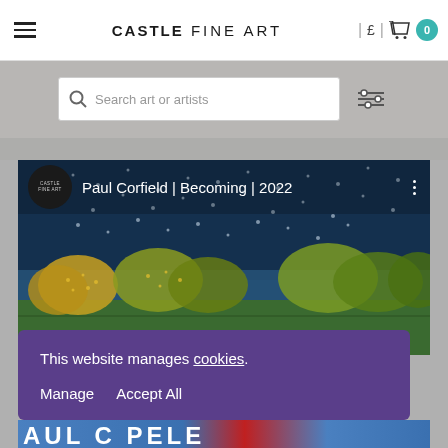Castle Fine Art — navigation header with hamburger menu, logo, currency selector £, basket icon, and cart badge 0
Search art or artists
[Figure (screenshot): Paul Corfield | Becoming | 2022 — artwork card showing a night-time pointillist landscape painting with stippled dark blue sky and dotted tree canopies rendered in gold and green hues, with Castle Fine Art logo circle and three-dot menu icon]
This website manages cookies. Manage  Accept All
[Figure (photo): Bottom strip showing partial large white letters on a red/blue gradient background reading 'AUL C... PELE...' (partial text of Paul Corfield name)]